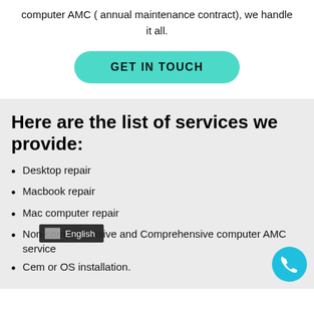computer AMC ( annual maintenance contract), we handle it all.
GET IN TOUCH
Here are the list of services we provide:
Desktop repair
Macbook repair
Mac computer repair
Non-comprehensive and Comprehensive computer AMC service
C...em or OS installation.